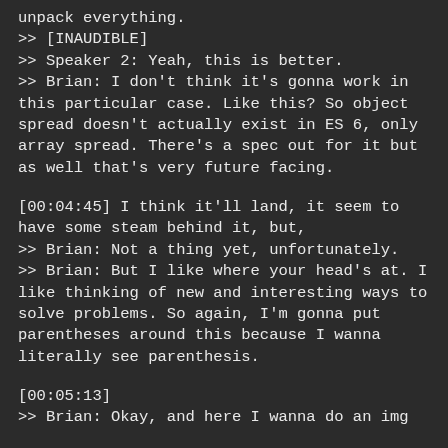unpack everything.
>> [INAUDIBLE]
>> Speaker 2: Yeah, this is better.
>> Brian: I don't think it's gonna work in this particular case. Like this? So object spread doesn't actually exist in ES 6, only array spread. There's a spec out for it but as well that's very future facing.
[00:04:45] I think it'll land, it seem to have some steam behind it, but,
>> Brian: Not a thing yet, unfortunately.
>> Brian: But I like where your head's at. I like thinking of new and interesting ways to solve problems. So again, I'm gonna put parentheses around this because I wanna literally see parenthesis.
[00:05:13]
>> Brian: Okay, and here I wanna do an img